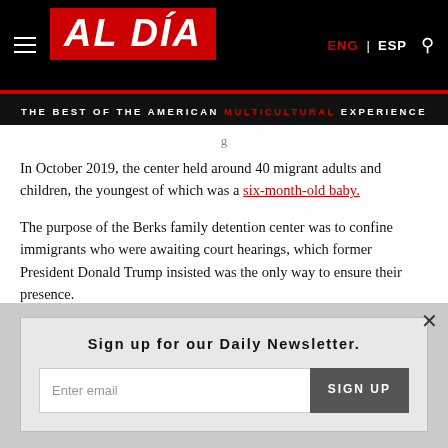AL DÍA — ENG | ESP — THE BEST OF THE AMERICAN MULTICULTURAL EXPERIENCE
In October 2019, the center held around 40 migrant adults and children, the youngest of which was a six-month-old baby.
The purpose of the Berks family detention center was to confine immigrants who were awaiting court hearings, which former President Donald Trump insisted was the only way to ensure their presence.
Trump made the wildly inaccurate claim that as little as 2% of
[Figure (screenshot): Newsletter signup popup overlay with 'Sign up for our Daily Newsletter.' heading, email input field, and SIGN UP button]